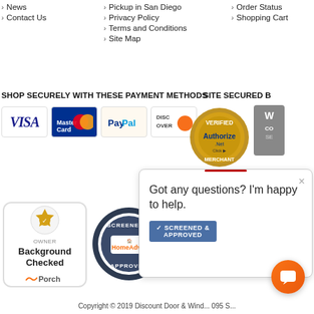› News
› Contact Us
› Pickup in San Diego
› Privacy Policy
› Terms and Conditions
› Site Map
› Order Status
› Shopping Cart
SHOP SECURELY WITH THESE PAYMENT METHODS
[Figure (logo): Payment method logos: VISA, MasterCard, PayPal, Discover]
SITE SECURED B
[Figure (logo): Authorize.Net Verified Merchant badge and WS security badge with Merchant Services text]
[Figure (logo): Porch Owner Background Checked badge]
[Figure (logo): HomeAdvisor Screened & Approved badge]
[Figure (screenshot): Chat popup: Got any questions? I'm happy to help. with Screened & Approved bar and orange chat icon]
Copyright © 2019 Discount Door & Wind... 095 S...